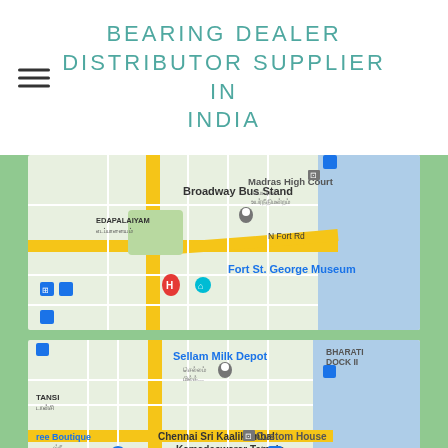BEARING DEALER DISTRIBUTOR SUPPLIER IN INDIA
[Figure (map): Google Maps screenshot showing Chennai area near Broadway Bus Stand, Edapalaiyam, Fort St. George Museum, Madras High Court, N Fort Rd]
[Figure (map): Google Maps screenshot showing Chennai area near Sellam Milk Depot, Chennai Sri Kaalikambal Kamadeswarar Temple, Custom House, A Cube, Broadway Bus Stand, Madras High Court, Kalyana Puram, Tansi, Bharati Dock II]